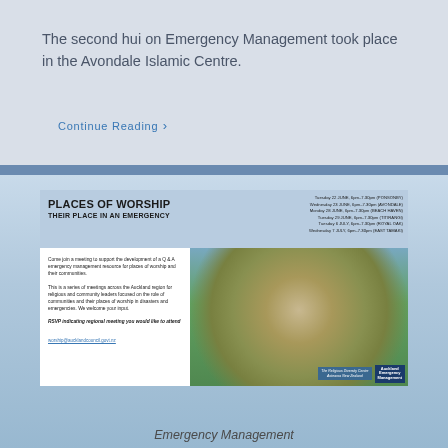The second hui on Emergency Management took place in the Avondale Islamic Centre.
Continue Reading ›
[Figure (photo): A flyer titled 'PLACES OF WORSHIP – THEIR PLACE IN AN EMERGENCY'. Lists multiple meeting dates in Auckland locations (Ponsonby, Avondale, Beach Haven, Titirangi, Royal Oak, East Tamaki). Body text invites community and religious leaders to Q&A emergency management meetings. Features a photo of an Asian temple/garden with visitors and stone lanterns. Logos for the Religious Diversity Centre Aotearoa New Zealand and Auckland Emergency Management appear at bottom right.]
Emergency Management